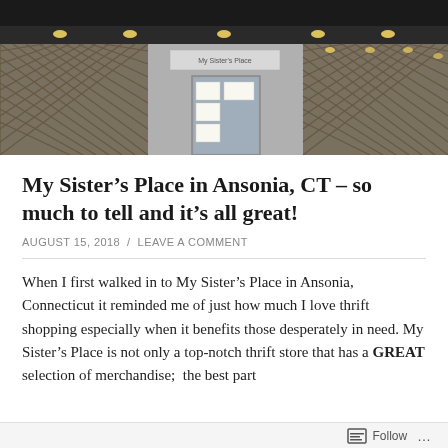[Figure (photo): Exterior photo of My Sister's Place store in Ansonia, CT showing a dark awning, lattice panels, ceiling lights, and glass front door with notices posted]
My Sister's Place in Ansonia, CT – so much to tell and it's all great!
AUGUST 15, 2018 / LEAVE A COMMENT
When I first walked in to My Sister's Place in Ansonia, Connecticut it reminded me of just how much I love thrift shopping especially when it benefits those desperately in need. My Sister's Place is not only a top-notch thrift store that has a GREAT selection of merchandise;  the best part
Follow